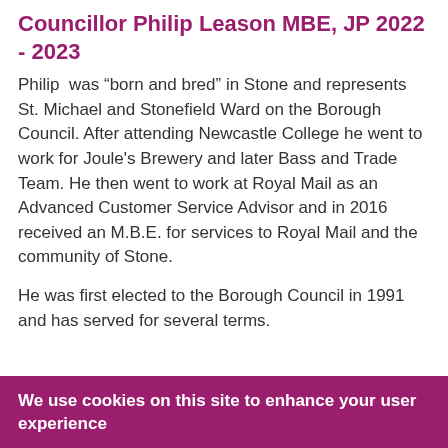Councillor Philip Leason MBE, JP 2022 - 2023
Philip was “born and bred” in Stone and represents St. Michael and Stonefield Ward on the Borough Council. After attending Newcastle College he went to work for Joule's Brewery and later Bass and Trade Team. He then went to work at Royal Mail as an Advanced Customer Service Advisor and in 2016 received an M.B.E. for services to Royal Mail and the community of Stone.
He was first elected to the Borough Council in 1991 and has served for several terms.
We use cookies on this site to enhance your user experience